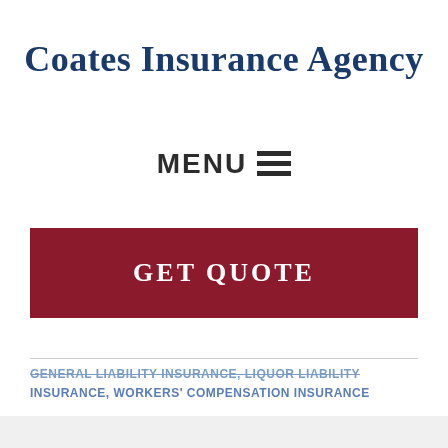Coates Insurance Agency
MENU ☰
[Figure (other): Red button reading GET QUOTE]
GENERAL LIABILITY INSURANCE, LIQUOR LIABILITY INSURANCE, WORKERS' COMPENSATION INSURANCE